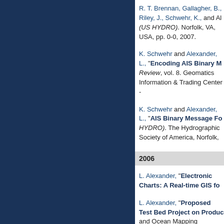R. T. Brennan, Gallagher, B., Riley, J., Schwehr, K., and Al... (US HYDRO). Norfolk, VA, USA, pp. 0-0, 2007.
K. Schwehr and Alexander, L., "Encoding AIS Binary M..." Review, vol. 8. Geomatics Information & Trading Center - ...
K. Schwehr and Alexander, L., "AIS Binary Message Fo..." HYDRO). The Hydrographic Society of America, Norfolk, ...
2006
L. Alexander, "Electronic Charts: A Real-time GIS fo..."
L. Alexander, "Proposed Test Bed Project on Produc..." and Ocean Mapping (CCOM)/Joint Hydrographic Center (J...
G. Dias, Coleman, D. F., El-Rabbany, A., Agi, B., and Alex... "Format", International Hydrographic Review, vol. 7. Geo...
L. Alexander, Roman, D., and Casey, M. J., "Comparative..." Halifax, Nova Scotia, Canada, 2006.
L. Alexander, "Recommendation for Involving the P..." Center for Coastal and Ocean Mapping (CCOM)/Joint Hyd...